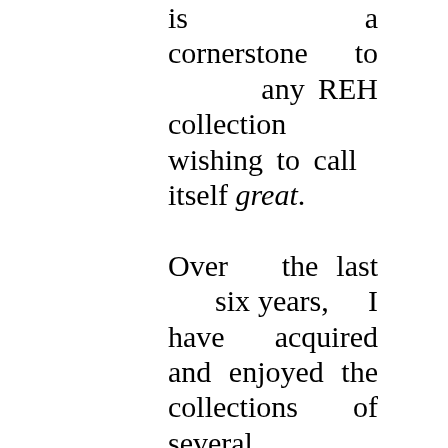is a cornerstone to any REH collection wishing to call itself great.

Over the last six years, I have acquired and enjoyed the collections of several